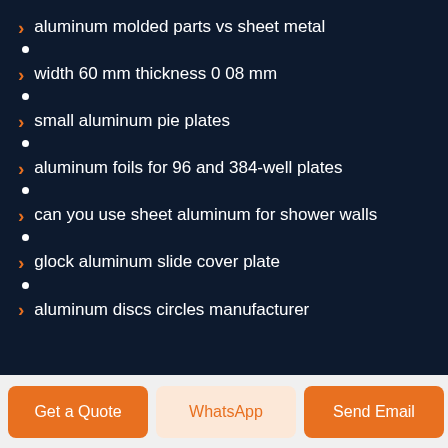aluminum molded parts vs sheet metal
width 60 mm thickness 0 08 mm
small aluminum pie plates
aluminum foils for 96 and 384-well plates
can you use sheet aluminum for shower walls
glock aluminum slide cover plate
aluminum discs circles manufacturer
Get a Quote | WhatsApp | Send Email